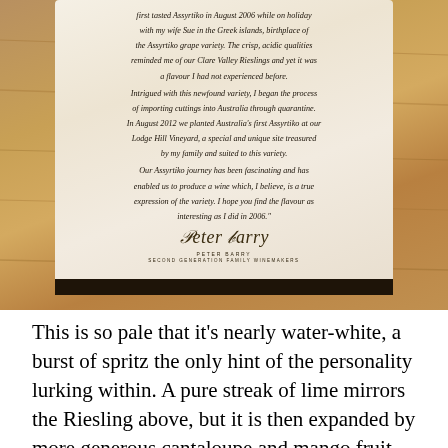[Figure (photo): Close-up photograph of the back label of a wine bottle (Assyrtiko), showing cursive/italic text telling the story of the winemaker first tasting Assyrtiko in August 2006 in the Greek islands, bringing cuttings to Australia, and planting Australia's first Assyrtiko in August 2012 at Lodge Hill Vineyard. Includes a signature above text reading 'PETER BARRY' and 'SECOND GENERATION FAMILY WINEMAKERS'. Background shows wood grain texture.]
This is so pale that it's nearly water-white, a burst of spritz the only hint of the personality lurking within. A pure streak of lime mirrors the Riesling above, but it is then expanded by more generous cantaloupe and mango fruit, surprising bay leaf and parsley, calming honeysuckle and burrowing white stone, all wrapped in a faint pleasant rubbery note, like a special expression of some of the best qualities